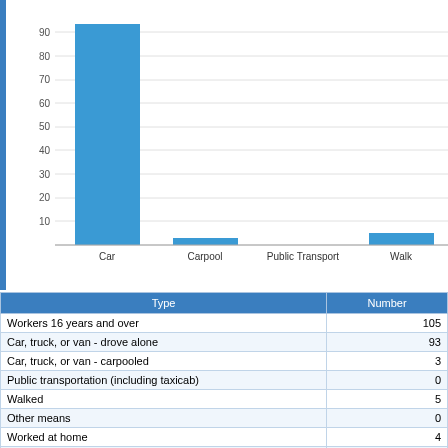[Figure (bar-chart): Commute Type]
| Type | Number |
| --- | --- |
| Workers 16 years and over | 105 |
| Car, truck, or van - drove alone | 93 |
| Car, truck, or van - carpooled | 3 |
| Public transportation (including taxicab) | 0 |
| Walked | 5 |
| Other means | 0 |
| Worked at home | 4 |
| Mean travel time to work (minutes) | 21.4 minutes |